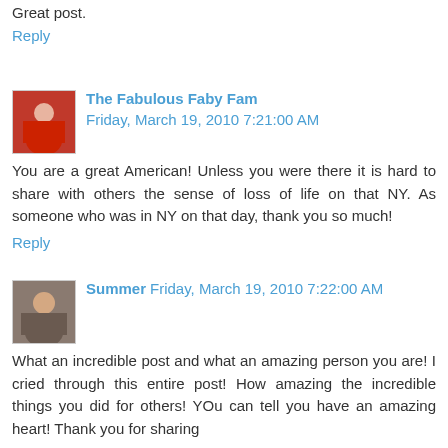Great post.
Reply
The Fabulous Faby Fam  Friday, March 19, 2010 7:21:00 AM
You are a great American! Unless you were there it is hard to share with others the sense of loss of life on that NY. As someone who was in NY on that day, thank you so much!
Reply
Summer  Friday, March 19, 2010 7:22:00 AM
What an incredible post and what an amazing person you are! I cried through this entire post! How amazing the incredible things you did for others! YOu can tell you have an amazing heart! Thank you for sharing
Summer
Reply